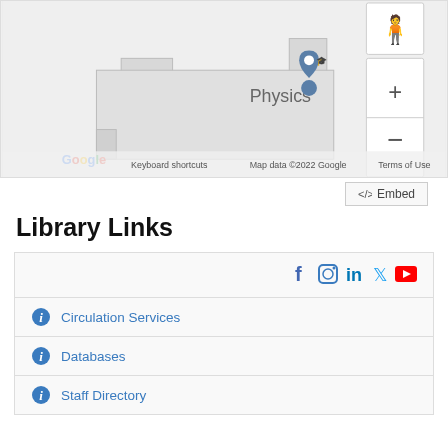[Figure (map): Google Maps showing Physics building location with marker, zoom controls (+/-), Google logo, Keyboard shortcuts, Map data ©2022 Google, Terms of Use]
<> Embed
Library Links
Circulation Services
Databases
Staff Directory